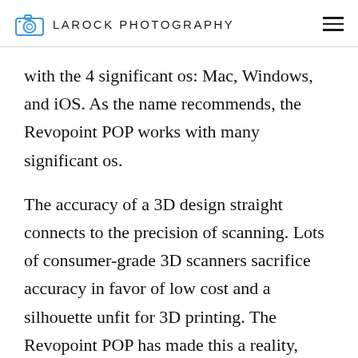LAROCK PHOTOGRAPHY
with the 4 significant os: Mac, Windows, and iOS. As the name recommends, the Revopoint POP works with many significant os.
The accuracy of a 3D design straight connects to the precision of scanning. Lots of consumer-grade 3D scanners sacrifice accuracy in favor of low cost and a silhouette unfit for 3D printing. The Revopoint POP has made this a reality, making it a truly portable 3D scanner that is